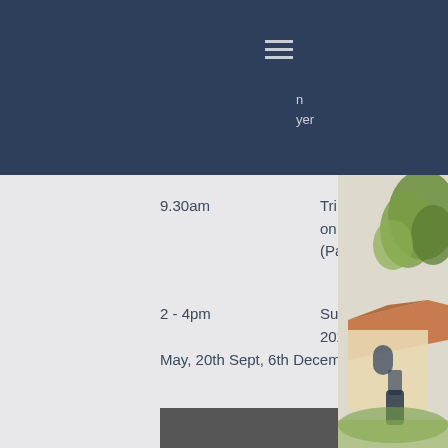n yer
9.30am    Trinity Tots on Thursday (term-time) (Parish Room)
2 - 4pm    Sunday MESSY CHURCH! 2020 dates 29th March, 31st May, 20th Sept, 6th December
CHURCH OPENING TIMES
Need some prayer or quiet time, or simply want to look around?
Holy Trinity is generally open daily from 9.00am – 5.30pm.
[Figure (photo): Partial photo strip at bottom of page]
[Figure (illustration): Watercolor illustration of a church with trees and countryside on the right side of the page]